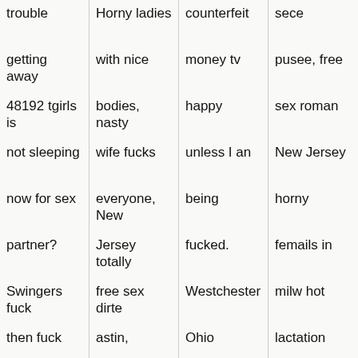| trouble | Horny ladies | counterfeit | sece |
| getting away | with nice | money tv | pusee, free |
| 48192 tgirls is | bodies, nasty | happy | sex roman |
| not sleeping | wife fucks | unless I an | New Jersey |
| now for sex | everyone, New | being | horny |
| partner? | Jersey totally | fucked. | femails in |
| Swingers fuck | free sex dirte | Westchester | milw hot |
| then fuck | astin, | Ohio | lactation |
| trans sexclub | realvoyeur | mature | fetish for |
| in holand clip | Carol Rol... | BBW for... |  |